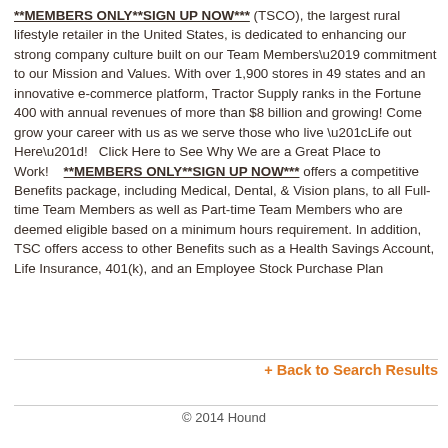**MEMBERS ONLY**SIGN UP NOW*** (TSCO), the largest rural lifestyle retailer in the United States, is dedicated to enhancing our strong company culture built on our Team Members\u2019 commitment to our Mission and Values. With over 1,900 stores in 49 states and an innovative e-commerce platform, Tractor Supply ranks in the Fortune 400 with annual revenues of more than $8 billion and growing! Come grow your career with us as we serve those who live \u201cLife out Here\u201d!   Click Here to See Why We are a Great Place to Work!    **MEMBERS ONLY**SIGN UP NOW*** offers a competitive Benefits package, including Medical, Dental, & Vision plans, to all Full-time Team Members as well as Part-time Team Members who are deemed eligible based on a minimum hours requirement. In addition, TSC offers access to other Benefits such as a Health Savings Account, Life Insurance, 401(k), and an Employee Stock Purchase Plan
+ Back to Search Results
© 2014 Hound